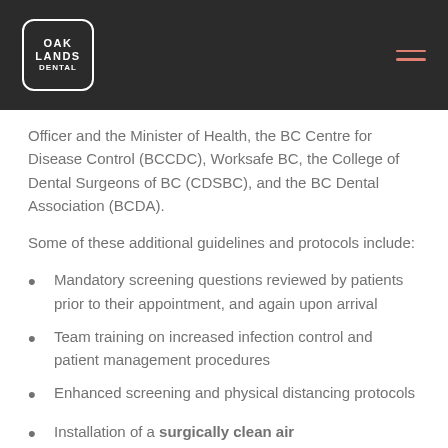Oaklands Dental
Officer and the Minister of Health, the BC Centre for Disease Control (BCCDC), Worksafe BC, the College of Dental Surgeons of BC (CDSBC), and the BC Dental Association (BCDA).
Some of these additional guidelines and protocols include:
Mandatory screening questions reviewed by patients prior to their appointment, and again upon arrival
Team training on increased infection control and patient management procedures
Enhanced screening and physical distancing protocols
Installation of a surgically clean air